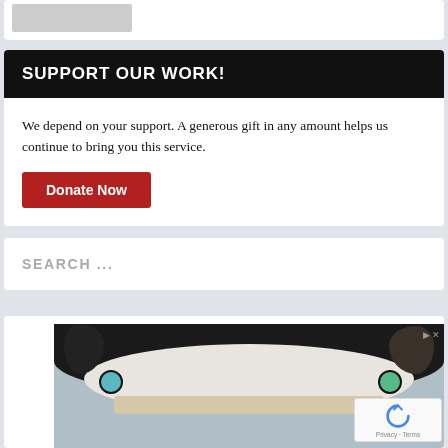[Figure (screenshot): Top white card with a gray image placeholder]
SUPPORT OUR WORK!
We depend on your support. A generous gift in any amount helps us continue to bring you this service.
Donate Now
SEARCH ...
[Figure (photo): Close-up photo of a black and white dog (Border Collie) with blue-green eyes looking up at the camera, with an advertisement overlay]